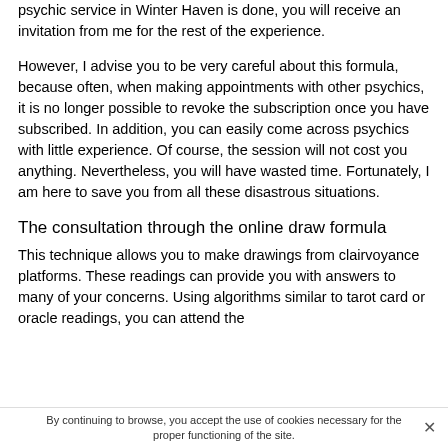psychic service in Winter Haven is done, you will receive an invitation from me for the rest of the experience.
However, I advise you to be very careful about this formula, because often, when making appointments with other psychics, it is no longer possible to revoke the subscription once you have subscribed. In addition, you can easily come across psychics with little experience. Of course, the session will not cost you anything. Nevertheless, you will have wasted time. Fortunately, I am here to save you from all these disastrous situations.
The consultation through the online draw formula
This technique allows you to make drawings from clairvoyance platforms. These readings can provide you with answers to many of your concerns. Using algorithms similar to tarot card or oracle readings, you can attend the
By continuing to browse, you accept the use of cookies necessary for the proper functioning of the site.